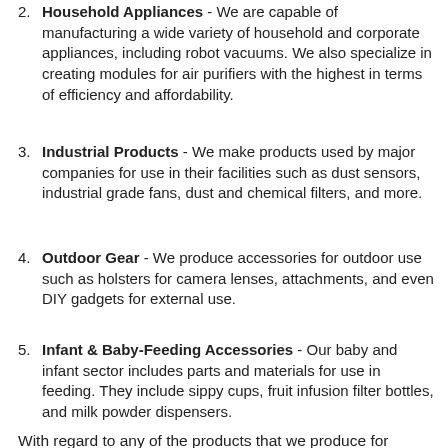2. Household Appliances - We are capable of manufacturing a wide variety of household and corporate appliances, including robot vacuums. We also specialize in creating modules for air purifiers with the highest in terms of efficiency and affordability.
3. Industrial Products - We make products used by major companies for use in their facilities such as dust sensors, industrial grade fans, dust and chemical filters, and more.
4. Outdoor Gear - We produce accessories for outdoor use such as holsters for camera lenses, attachments, and even DIY gadgets for external use.
5. Infant & Baby-Feeding Accessories - Our baby and infant sector includes parts and materials for use in feeding. They include sippy cups, fruit infusion filter bottles, and milk powder dispensers.
With regard to any of the products that we produce for babies and children, we make sure to use only non-toxic materials while employing rigorous standards. We make it a point to prevent any chance of contamination and ensure the safety of the products for use.